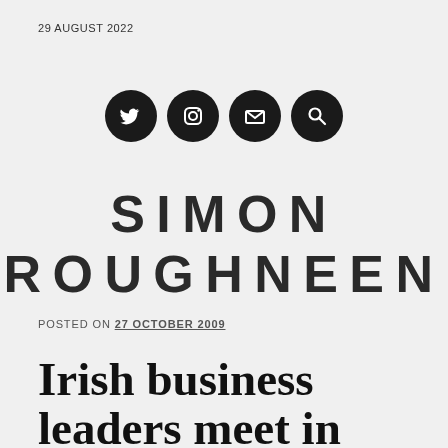29 AUGUST 2022
[Figure (logo): Four social media icon circles (Twitter bird, Instagram camera, email envelope, search magnifier) in dark/black circular buttons arranged horizontally]
SIMON ROUGHNEEN
POSTED ON 27 OCTOBER 2009
Irish business leaders meet in Bangkok to try boost commerce